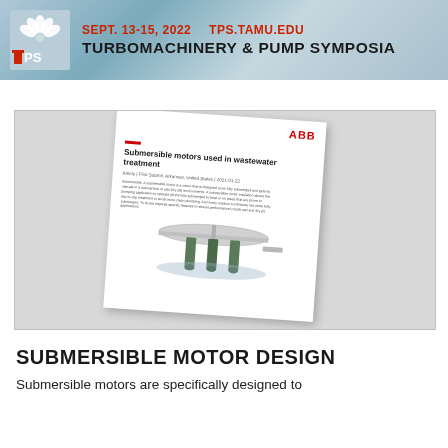SEPT. 13-15, 2022   TPS.TAMU.EDU   TURBOMACHINERY & PUMP SYMPOSIA
[Figure (illustration): ABB white paper document preview showing 'Submersible motors used in wastewater treatment' with an illustration of submersible motor pumps, displayed at an angle on a gray background]
SUBMERSIBLE MOTOR DESIGN
Submersible motors are specifically designed to